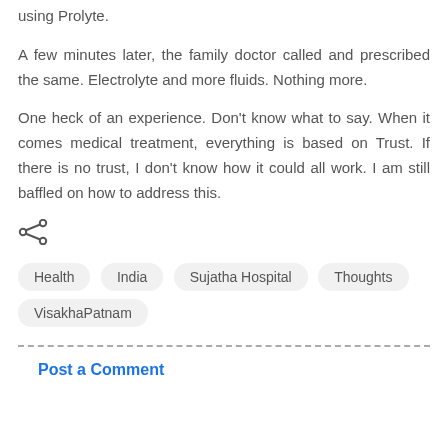using Prolyte.
A few minutes later, the family doctor called and prescribed the same. Electrolyte and more fluids. Nothing more.
One heck of an experience. Don't know what to say. When it comes medical treatment, everything is based on Trust. If there is no trust, I don't know how it could all work. I am still baffled on how to address this.
[Figure (other): Share icon (less-than style arrow with dots)]
Health
India
Sujatha Hospital
Thoughts
VisakhaPatnam
Post a Comment